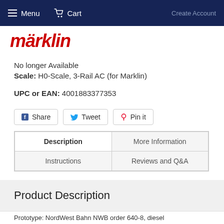Menu  Cart
[Figure (logo): Märklin logo in red bold italic text]
No longer Available
Scale: H0-Scale, 3-Rail AC (for Marklin)
UPC or EAN: 4001883377353
Share  Tweet  Pin it
| Description | More Information |
| --- | --- |
| Instructions | Reviews and Q&A |
Product Description
Prototype: NordWest Bahn NWB order 640-8, diesel...